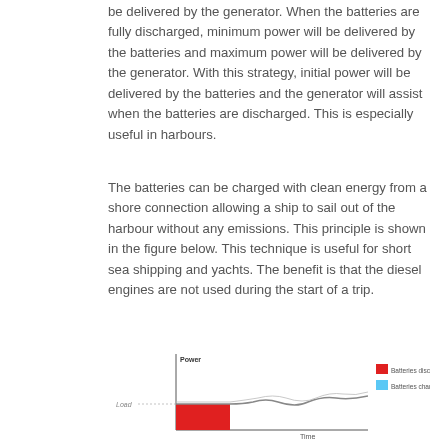be delivered by the generator. When the batteries are fully discharged, minimum power will be delivered by the batteries and maximum power will be delivered by the generator. With this strategy, initial power will be delivered by the batteries and the generator will assist when the batteries are discharged. This is especially useful in harbours.
The batteries can be charged with clean energy from a shore connection allowing a ship to sail out of the harbour without any emissions. This principle is shown in the figure below. This technique is useful for short sea shipping and yachts. The benefit is that the diesel engines are not used during the start of a trip.
[Figure (continuous-plot): A power vs time chart showing batteries discharging (red filled area at the start of the trip under the load line) and a wavy generator power curve continuing afterward. Legend shows red for Batteries discharging and blue for Batteries charging. Y-axis labeled Power with a horizontal Load line; X-axis labeled Time.]